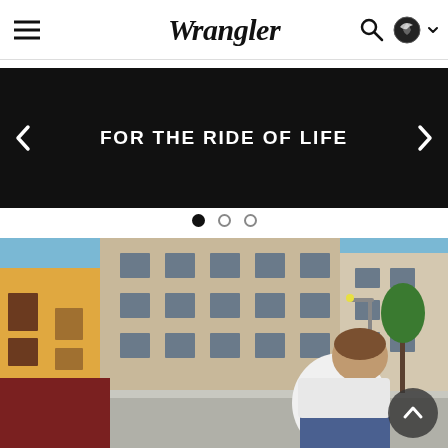Wrangler — navigation header with hamburger menu, search icon, and region selector
FOR THE RIDE OF LIFE
[Figure (photo): Street scene with a young person on a bicycle in front of urban buildings, wearing a white t-shirt and jeans. Background shows multi-story beige/tan stucco buildings and a yellow building on the left.]